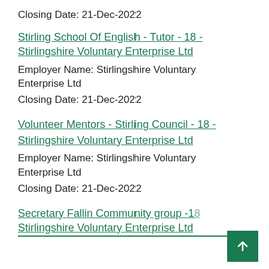Closing Date: 21-Dec-2022
Stirling School Of English - Tutor - 18 - Stirlingshire Voluntary Enterprise Ltd
Employer Name: Stirlingshire Voluntary Enterprise Ltd
Closing Date: 21-Dec-2022
Volunteer Mentors - Stirling Council - 18 - Stirlingshire Voluntary Enterprise Ltd
Employer Name: Stirlingshire Voluntary Enterprise Ltd
Closing Date: 21-Dec-2022
Secretary Fallin Community group -18 - Stirlingshire Voluntary Enterprise Ltd